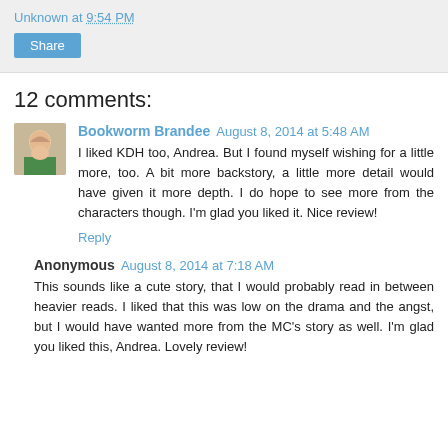Unknown at 9:54 PM
Share
12 comments:
Bookworm Brandee  August 8, 2014 at 5:48 AM
I liked KDH too, Andrea. But I found myself wishing for a little more, too. A bit more backstory, a little more detail would have given it more depth. I do hope to see more from the characters though. I'm glad you liked it. Nice review!
Reply
Anonymous  August 8, 2014 at 7:18 AM
This sounds like a cute story, that I would probably read in between heavier reads. I liked that this was low on the drama and the angst, but I would have wanted more from the MC's story as well. I'm glad you liked this, Andrea. Lovely review!